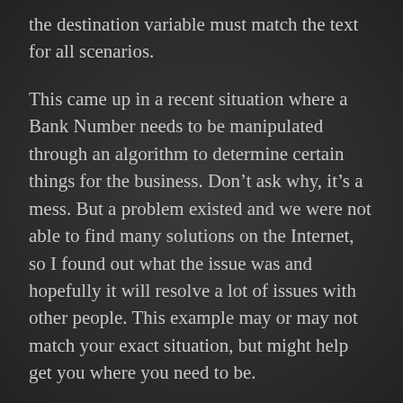the destination variable must match the text for all scenarios.
This came up in a recent situation where a Bank Number needs to be manipulated through an algorithm to determine certain things for the business. Don’t ask why, it’s a mess. But a problem existed and we were not able to find many solutions on the Internet, so I found out what the issue was and hopefully it will resolve a lot of issues with other people. This example may or may not match your exact situation, but might help get you where you need to be.